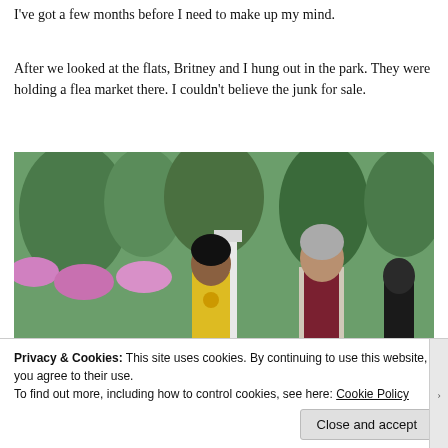I've got a few months before I need to make up my mind.
After we looked at the flats, Britney and I hung out in the park. They were holding a flea market there. I couldn't believe the junk for sale.
[Figure (screenshot): A screenshot from The Sims 4 showing characters at a flea market. A character in a yellow shirt stands at a table covered with various dark figurines and items for sale. Another character in a maroon vest and grey shorts stands browsing the goods. In the background there are colorful plants, flowers, and park scenery.]
Privacy & Cookies: This site uses cookies. By continuing to use this website, you agree to their use.
To find out more, including how to control cookies, see here: Cookie Policy
Close and accept